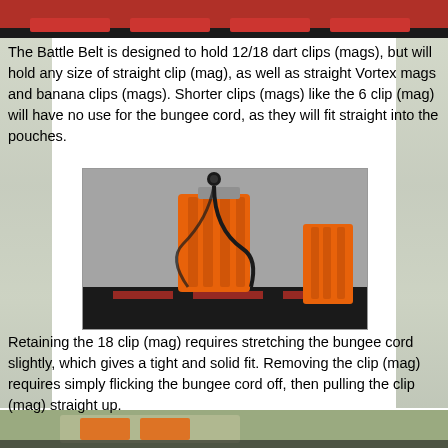[Figure (photo): Top strip of image showing red/black Nerf Battle Belt]
The Battle Belt is designed to hold 12/18 dart clips (mags), but will hold any size of straight clip (mag), as well as straight Vortex mags and banana clips (mags). Shorter clips (mags) like the 6 clip (mag) will have no use for the bungee cord, as they will fit straight into the pouches.
[Figure (photo): Photo of orange Nerf 18-dart magazine/clip secured in a black pouch with a black bungee cord looped over the top, with another orange clip visible to the right, all sitting on a carpet/grey surface.]
Retaining the 18 clip (mag) requires stretching the bungee cord slightly, which gives a tight and solid fit. Removing the clip (mag) requires simply flicking the bungee cord off, then pulling the clip (mag) straight up.
[Figure (photo): Bottom strip showing another angle of the Battle Belt with clips]